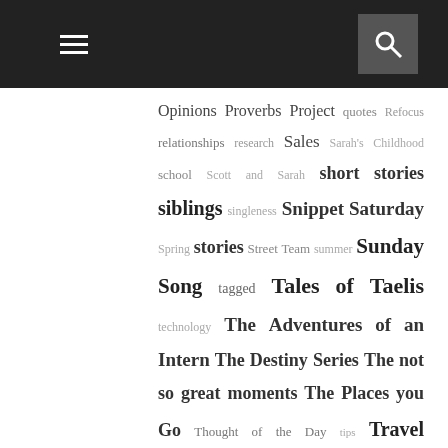Navigation header with menu and search icons
Opinions Proverbs Project quotes Refocus relationships research Sales Sarah's Childhood school Scott and Sarah short stories siblings singleness Snippet Saturday Spring stories Street Team summer Sunday Song tagged Tales of Taelis technology The Adventures of an Intern The Destiny Series The not so great moments The Places you Go Thought of the Day tips Travel Adventures Tuesday Reading Tips Vintage Jane Austen vlog Waltz into the Waves Wedding Weekly Goals When Plans Get Tossed Where Destiny Takes You Where